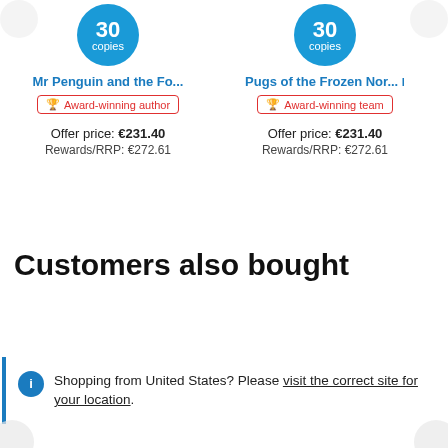30 copies
Mr Penguin and the Fo...
Award-winning author
Offer price: €231.40
Rewards/RRP: €272.61
30 copies
Pugs of the Frozen Nor...
Award-winning team
Offer price: €231.40
Rewards/RRP: €272.61
Customers also bought
Shopping from United States? Please visit the correct site for your location.